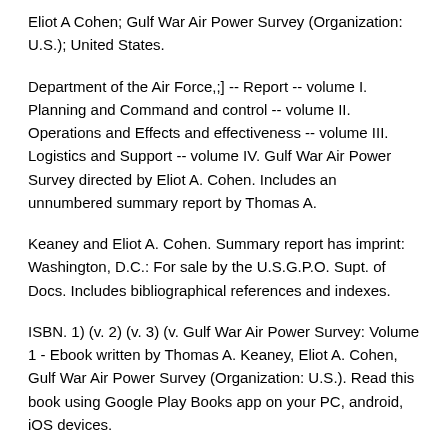Eliot A Cohen; Gulf War Air Power Survey (Organization: U.S.); United States.
Department of the Air Force,;] -- Report -- volume I. Planning and Command and control -- volume II. Operations and Effects and effectiveness -- volume III. Logistics and Support -- volume IV. Gulf War Air Power Survey directed by Eliot A. Cohen. Includes an unnumbered summary report by Thomas A.
Keaney and Eliot A. Cohen. Summary report has imprint: Washington, D.C.: For sale by the U.S.G.P.O. Supt. of Docs. Includes bibliographical references and indexes.
ISBN. 1) (v. 2) (v. 3) (v. Gulf War Air Power Survey: Volume 1 - Ebook written by Thomas A. Keaney, Eliot A. Cohen, Gulf War Air Power Survey (Organization: U.S.). Read this book using Google Play Books app on your PC, android, iOS devices.
Download for offline reading, highlight, bookmark or take notes while you read Gulf War Air Power Survey: Volume 1. Looking for abbreviations of GWAPS. It is Gulf War Air Power Survey.